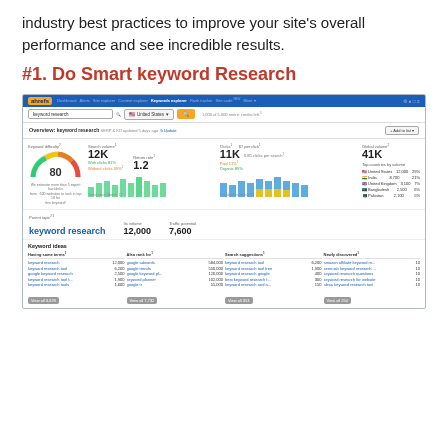industry best practices to improve your site's overall performance and see incredible results.
#1. Do Smart keyword Research
[Figure (screenshot): Ahrefs Keywords Explorer screenshot showing keyword research for 'keyword research'. Displays keyword difficulty score of 80, search volume 12K, return rate 1.2, clicks 11K, $7 per click, global volume 41K. Top countries: United States 12,000 29%, India 8,700 21%, United Kingdom 3,100 7%, Bangladesh 2,500 6%, Pakistan 2,100 5%. Parent topic: keyword research, its volume 12,000, traffic potential 7,600. Keyword ideas section with four columns: Having same terms, Also rank for, Search suggestions, Newly discovered.]